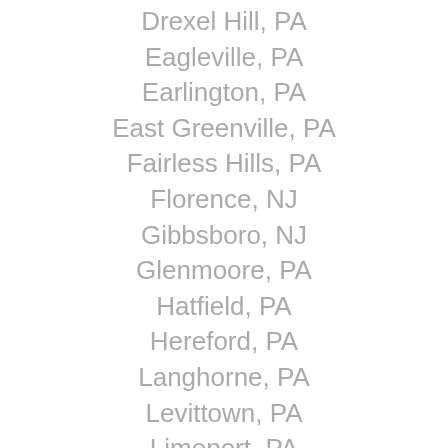Drexel Hill, PA
Eagleville, PA
Earlington, PA
East Greenville, PA
Fairless Hills, PA
Florence, NJ
Gibbsboro, NJ
Glenmoore, PA
Hatfield, PA
Hereford, PA
Langhorne, PA
Levittown, PA
Limeport, PA
Lyndell, PA
Mainland, PA
Marmora, NJ